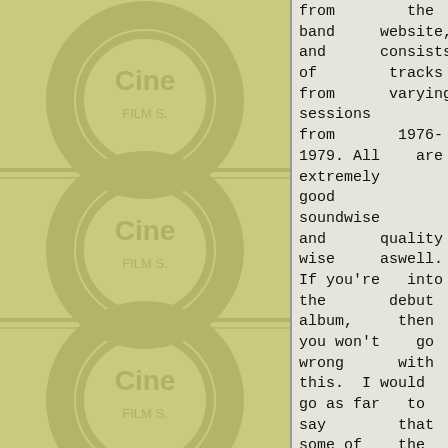[Figure (illustration): Olive/yellow-green watermark background with faded circular logos and text on the left side of the page]
from the band website, and consists of tracks from varying sessions from 1976-1979. All are extremely good soundwise and quality wise aswell. If you're into the debut album, then you won't go wrong with this. I would go as far to say that some of the tracks are even better than the
[Figure (photo): Johnny Casino - Five X Seven album cover: circular black and white design with a bird on a typewriter]
[Figure (photo): J.B.O. - Planet Pink album cover: dark background with a large pink moon and pink text]
[Figure (photo): Hit The Ground Runnin' - Lost a Tradition album cover: dark city street scene]
[Figure (photo): Hed Club - Kamikaze album cover: dramatic geometric orange and dark design]